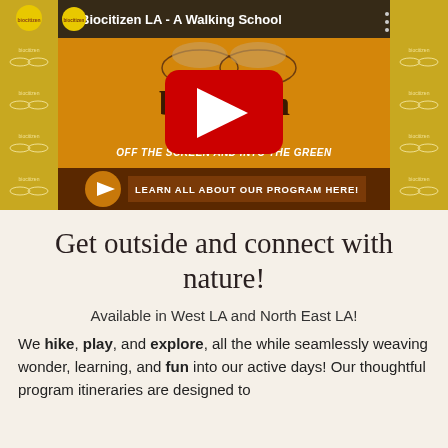[Figure (screenshot): YouTube video thumbnail for 'Biocitizen LA - A Walking School'. Shows a dragonfly-themed orange background with the biocitizen logo, text 'biocitizen los angeles', 'OFF THE SCREEN AND INTO THE GREEN', and a brown button 'LEARN ALL ABOUT OUR PROGRAM HERE!'. A red YouTube play button overlay is centered on the image. The video sidebar shows repeating biocitizen branding.]
Get outside and connect with nature!
Available in West LA and North East LA!
We hike, play, and explore, all the while seamlessly weaving wonder, learning, and fun into our active days! Our thoughtful program itineraries are designed to